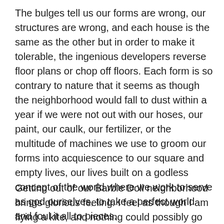The bulges tell us our forms are wrong, our structures are wrong, and each house is the same as the other but in order to make it tolerable, the ingenious developers reverse floor plans or chop off floors. Each form is so contrary to nature that it seems as though the neighborhood would fall to dust within a year if we were not out with our hoses, our paint, our caulk, our fertilizer, or the multitude of machines we use to groom our forms into acquiescence to our square and empty lives, our lives built on a godless concept of the world where we work to serve as god ourselves, to take a perfect world and foul it all to pieces.
Getting out of our Barbie Doll neighborhood brings glorious feeling. I feel as though I am flying a kite, and nothing could possibly go badly because the wind is